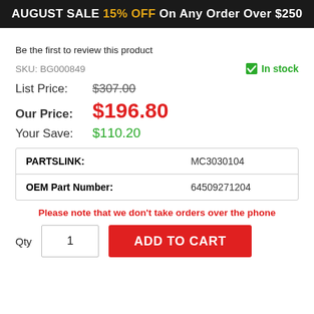AUGUST SALE 15% OFF On Any Order Over $250
Be the first to review this product
SKU: BG000849 | In stock
List Price: $307.00
Our Price: $196.80
Your Save: $110.20
| Field | Value |
| --- | --- |
| PARTSLINK: | MC3030104 |
| OEM Part Number: | 64509271204 |
Please note that we don't take orders over the phone
Qty 1 ADD TO CART